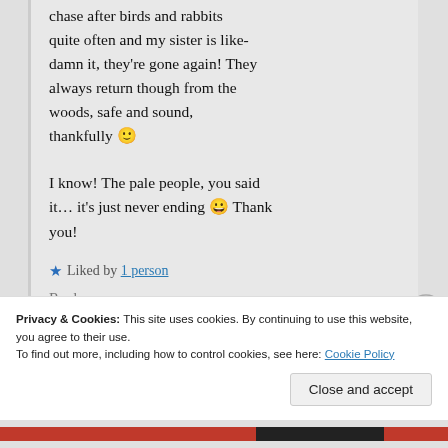chase after birds and rabbits quite often and my sister is like-damn it, they're gone again! They always return though from the woods, safe and sound, thankfully 🙂

I know! The pale people, you said it… it's just never ending 😀 Thank you!
★ Liked by 1 person
Reply
Privacy & Cookies: This site uses cookies. By continuing to use this website, you agree to their use.
To find out more, including how to control cookies, see here: Cookie Policy
Close and accept